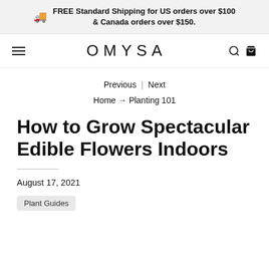FREE Standard Shipping for US orders over $100 & Canada orders over $150.
OMYSA
Previous | Next
Home → Planting 101
How to Grow Spectacular Edible Flowers Indoors
August 17, 2021
Plant Guides